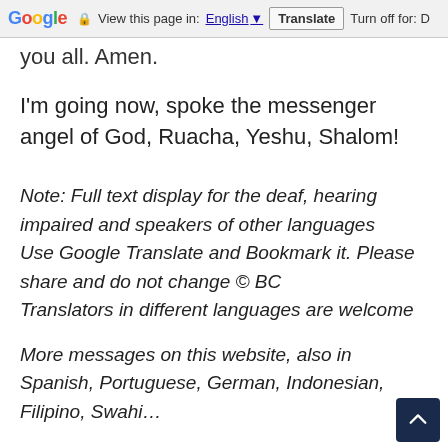Google — View this page in: English ▼ | Translate | Turn off for: D
you all. Amen.
I'm going now, spoke the messenger angel of God, Ruacha, Yeshu, Shalom!
Note: Full text display for the deaf, hearing impaired and speakers of other languages
Use Google Translate and Bookmark it. Please share and do not change © BC
Translators in different languages are welcome
More messages on this website, also in Spanish, Portuguese, German, Indonesian, Filipino, Swahi…